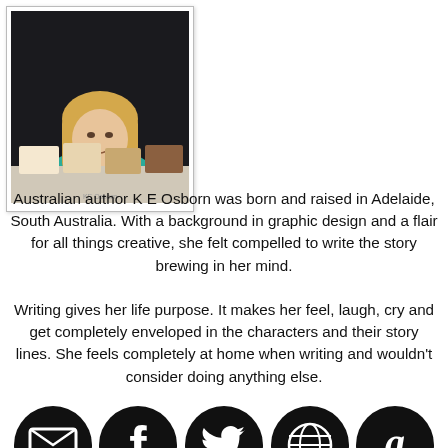[Figure (photo): Photo of author K E Osborn, a blonde woman in a teal top sitting at a table with books displayed in front of her]
Australian author K E Osborn was born and raised in Adelaide, South Australia. With a background in graphic design and a flair for all things creative, she felt compelled to write the story brewing in her mind.
Writing gives her life purpose. It makes her feel, laugh, cry and get completely enveloped in the characters and their story lines. She feels completely at home when writing and wouldn't consider doing anything else.
[Figure (infographic): Row of five social media / contact icons: Newsletter (envelope), Facebook (f), Twitter (bird), Website (www globe), Amazon (a)]